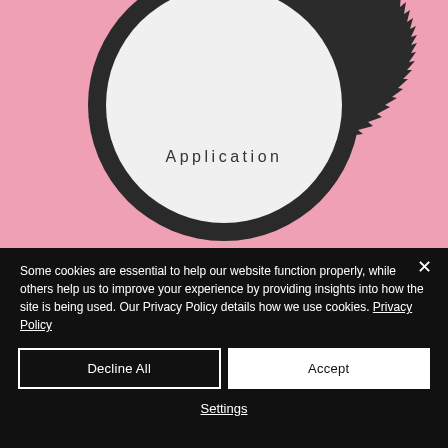[Figure (illustration): Pink background with a large dark gear/cog wheel shape containing a white circle in the center. The word 'Application' is written in spaced lettering inside the white circle.]
Some cookies are essential to help our website function properly, while others help us to improve your experience by providing insights into how the site is being used. Our Privacy Policy details how we use cookies. Privacy Policy
Decline All
Accept
Settings